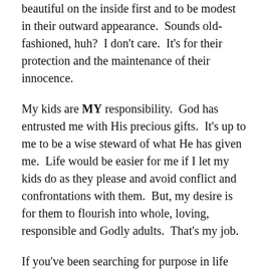beautiful on the inside first and to be modest in their outward appearance.  Sounds old-fashioned, huh?  I don't care.  It's for their protection and the maintenance of their innocence.
My kids are MY responsibility.  God has entrusted me with His precious gifts.  It's up to me to be a wise steward of what He has given me.  Life would be easier for me if I let my kids do as they please and avoid conflict and confrontations with them.  But, my desire is for them to flourish into whole, loving, responsible and Godly adults.  That's my job.
If you've been searching for purpose in life and you have children, here's your sign.  Your purpose is to raise those children in the way they should go.  Teach them and train them while you have them under your roof.  Once they are gone, they're gone.  Don't look back and say, "I wish this